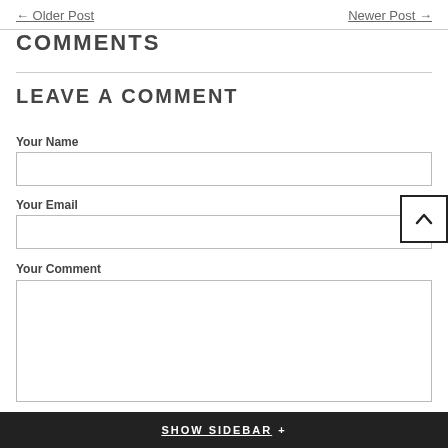← Older Post    Newer Post →
COMMENTS
LEAVE A COMMENT
Your Name
Your Email
Your Comment
SHOW SIDEBAR +